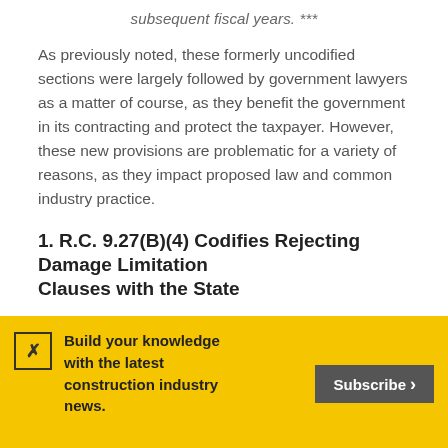subsequent fiscal years. ***
As previously noted, these formerly uncodified sections were largely followed by government lawyers as a matter of course, as they benefit the government in its contracting and protect the taxpayer. However, these new provisions are problematic for a variety of reasons, as they impact proposed law and common industry practice.
1. R.C. 9.27(B)(4) Codifies Rejecting Damage Limitation Clauses with the State
Build your knowledge with the latest construction industry news.